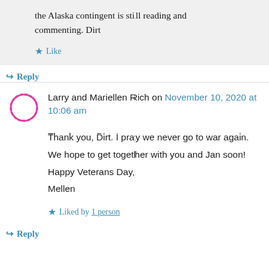the Alaska contingent is still reading and commenting. Dirt
Like
Reply
Larry and Mariellen Rich on November 10, 2020 at 10:06 am
Thank you, Dirt. I pray we never go to war again. We hope to get together with you and Jan soon! Happy Veterans Day, Mellen
Liked by 1 person
Reply